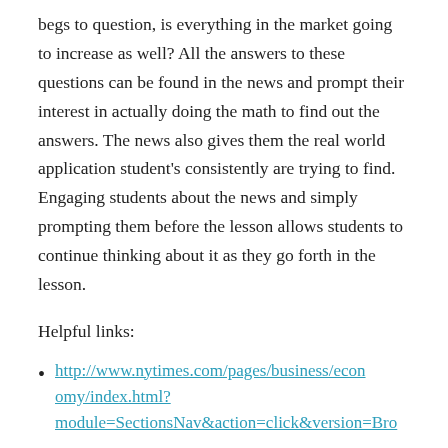begs to question, is everything in the market going to increase as well? All the answers to these questions can be found in the news and prompt their interest in actually doing the math to find out the answers. The news also gives them the real world application student's consistently are trying to find. Engaging students about the news and simply prompting them before the lesson allows students to continue thinking about it as they go forth in the lesson.
Helpful links:
http://www.nytimes.com/pages/business/economy/index.html?module=SectionsNav&action=click&version=Bro